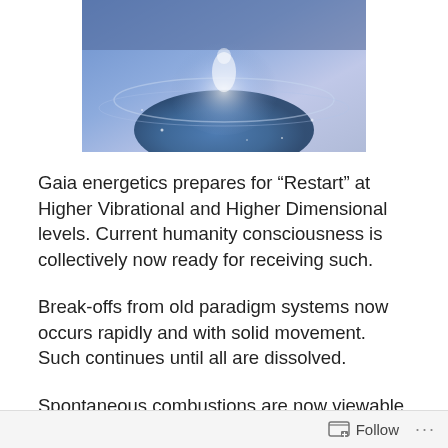[Figure (illustration): Cropped digital artwork showing a glowing figure or scene with blue and purple cosmic/earth imagery, partially visible at top of page]
Gaia energetics prepares for “Restart” at Higher Vibrational and Higher Dimensional levels. Current humanity consciousness is collectively now ready for receiving such.
Break-offs from old paradigm systems now occurs rapidly and with solid movement. Such continues until all are dissolved.
Spontaneous combustions are now viewable via all available viewing channels.
Participation of Hue-manity has reached sufficient stage
Follow ...